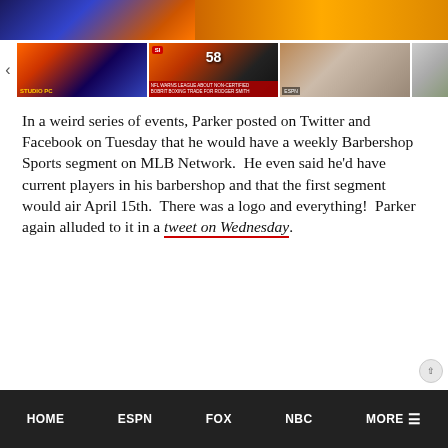[Figure (photo): Top banner image showing two photos: left side shows people in blue/orange clothing, right side shows a golden/orange background]
[Figure (photo): Row of four video thumbnail images: 1) studio scene with orange/blue, 2) football player #58 with SI news ticker overlay, 3) two men in crowd, 4) man with headphones at desk]
In a weird series of events, Parker posted on Twitter and Facebook on Tuesday that he would have a weekly Barbershop Sports segment on MLB Network.  He even said he'd have current players in his barbershop and that the first segment would air April 15th.  There was a logo and everything!  Parker again alluded to it in a tweet on Wednesday.
HOME   ESPN   FOX   NBC   MORE